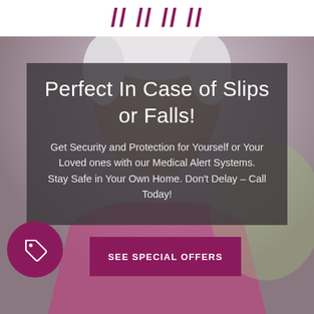MedialAlert.net
[Figure (photo): Background photo of smiling elderly couple]
Perfect In Case of Slips or Falls!
Get Security and Protection for Yourself or Your Loved ones with our Medical Alert Systems. Stay Safe in Your Own Home. Don't Delay – Call Today!
SEE SPECIAL OFFERS